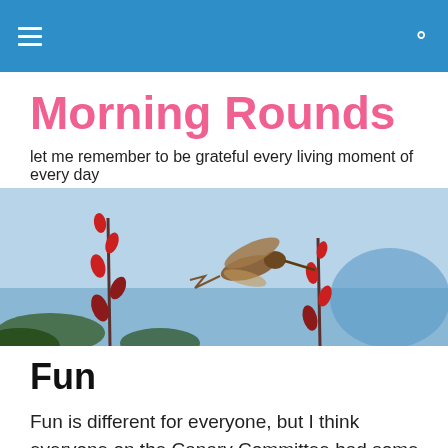Morning Rounds — navigation bar
Morning Rounds
let me remember to be grateful every living moment of every day
[Figure (photo): A hummingbird hovering near red flowers against a light blue sky background.]
Fun
Fun is different for everyone, but I think everyone on the Canary Committee had some kind of fun today walking in the Pioneer Days Parade. I'm grateful for the strong